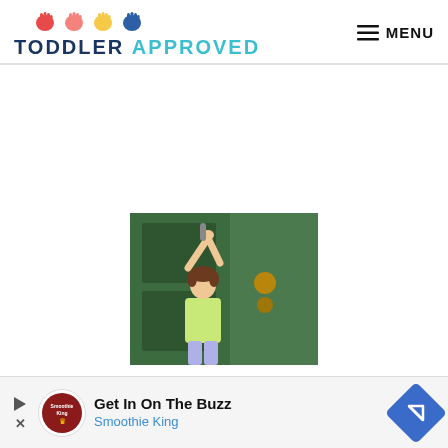[Figure (logo): Toddler Approved website logo with colorful hand print icons above text reading TODDLER APPROVED]
MENU
[Figure (photo): A young child with arms raised reaching up to the top of a green front door, attempting to unlock or open it]
[Figure (other): Advertisement banner: Get In On The Buzz - Smoothie King, with play button, Smoothie King logo, and blue diamond arrow icon]